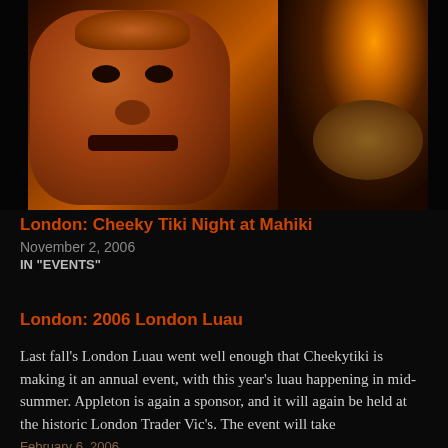[Figure (photo): Dark photograph of an illuminated tiki statue carved from wood, with a flame/lamp and woven basket visible in the background on the right side. The image has a warm orange-brown glow against a very dark background.]
London: Cheeky Tiki Night at Mahiki
November 2, 2006
IN "EVENTS"
London: 2006 London Luau
Last fall's London Luau went well enough that Cheekytiki is making it an annual event, with this year's luau happening in mid-summer. Appleton is again a sponsor, and it will again be held at the historic London Trader Vic's. The event will take
February 6, 2006